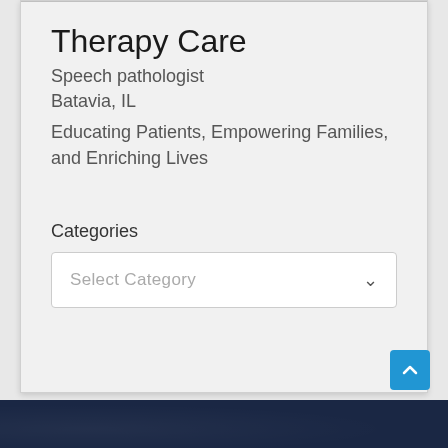Therapy Care
Speech pathologist
Batavia, IL
Educating Patients, Empowering Families, and Enriching Lives
Categories
Select Category